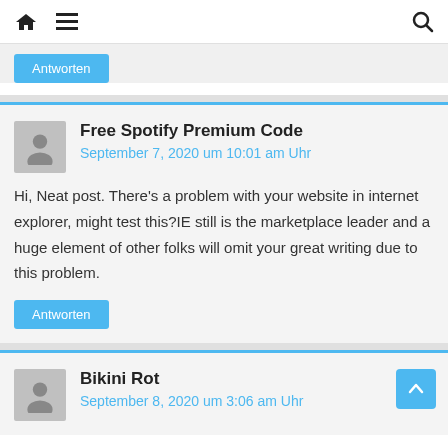Home | Menu | Search
Antworten
Free Spotify Premium Code
September 7, 2020 um 10:01 am Uhr
Hi, Neat post. There's a problem with your website in internet explorer, might test this?IE still is the marketplace leader and a huge element of other folks will omit your great writing due to this problem.
Antworten
Bikini Rot
September 8, 2020 um 3:06 am Uhr